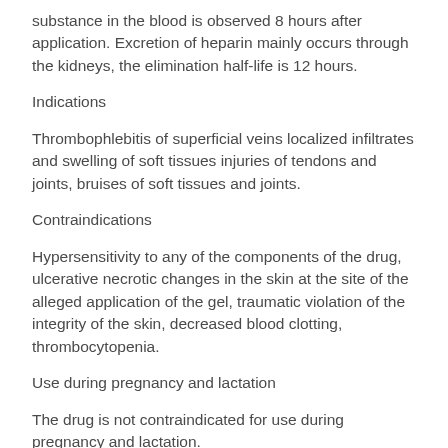substance in the blood is observed 8 hours after application. Excretion of heparin mainly occurs through the kidneys, the elimination half-life is 12 hours.
Indications
Thrombophlebitis of superficial veins localized infiltrates and swelling of soft tissues injuries of tendons and joints, bruises of soft tissues and joints.
Contraindications
Hypersensitivity to any of the components of the drug, ulcerative necrotic changes in the skin at the site of the alleged application of the gel, traumatic violation of the integrity of the skin, decreased blood clotting, thrombocytopenia.
Use during pregnancy and lactation
The drug is not contraindicated for use during pregnancy and lactation.